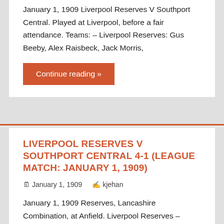January 1, 1909 Liverpool Reserves V Southport Central. Played at Liverpool, before a fair attendance. Teams: – Liverpool Reserves: Gus Beeby, Alex Raisbeck, Jack Morris,
Continue reading »
LIVERPOOL RESERVES V SOUTHPORT CENTRAL 4-1 (LEAGUE MATCH: JANUARY 1, 1909)
January 1, 1909   kjehan
January 1, 1909 Reserves, Lancashire Combination, at Anfield. Liverpool Reserves – Southport Central 4-1 (3-1). Liverpool Reserves (2-3-5): Gus Beeby, Alex Raisbeck, Jack Morris,